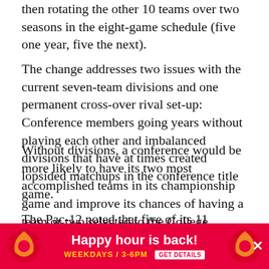then rotating the other 10 teams over two seasons in the eight-game schedule (five one year, five the next).
The change addresses two issues with the current seven-team divisions and one permanent cross-over rival set-up: Conference members going years without playing each other and imbalanced divisions that have at times created lopsided matchups in the conference title game.
Without divisions, a conference would be more likely to have its two most accomplished teams in its championship game and improve its chances of having a team or two selected to the College Football Playoff.
The Pac-12 noted that five of its 11 championship game matchups would have been different if the conference had ma... winner... are
[Figure (infographic): Advertisement banner: 'Happy hour is back! WEEKDAYS / 3-6PM GET DETAILS' on red background with decorative icons on left and right]